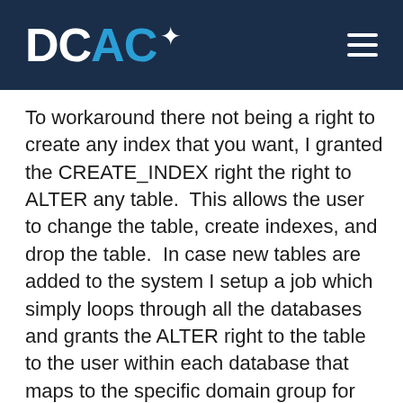DCAC
To workaround there not being a right to create any index that you want, I granted the CREATE_INDEX right the right to ALTER any table.  This allows the user to change the table, create indexes, and drop the table.  In case new tables are added to the system I setup a job which simply loops through all the databases and grants the ALTER right to the table to the user within each database that maps to the specific domain group for that database using this T-SQL code. This job is simply configured to run nightly and the SLA with the business users is that when new tables are added they simply won't be able to create indexes on the new table until the next day. As this data is simply being replicated over from production there shouldn't be that many new tables being added